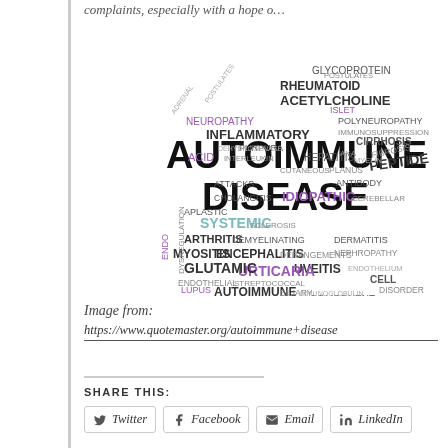complaints, especially with a hope o…
[Figure (infographic): Word cloud centered on 'AUTOIMMUNE DISEASE' in large bold text, surrounded by many medical terms including GLYCOPROTEIN, RHEUMATOID, ACETYLCHOLINE, ISLET, POLYNEUROPATHY, IMMUNOSUPPRESSION, NEUROPATHY, INFLAMMATORY, PURPURA, CIRRHOSIS, FIBROSIS, PEPTIDE, HEPATITIS, ACID, INTERLEUKIN, CUTANEOUS, PLANUS, ANTIBODY, ATTACKS, IDIOPATHIC, CEREBELLAR, SYSTEMIC, ARTHRITIS, MYOSITIS, ENCEPHALITIS, DERMATITIS, NEPHROPATHY, DERANGEMENTS, UVEITIS, URTICARIA, GLUTAMIC, LUPUS, AUTOIMMUNE, STREPTOCOCCAL, COMPONENT, BILIARY, FACTOR, ENCEPHALOPATHY, CELL, DISORDER, and many others in various colors and sizes.]
Image from:
https://www.quotemaster.org/autoimmune+disease
SHARE THIS:
Twitter  Facebook  Email  LinkedIn